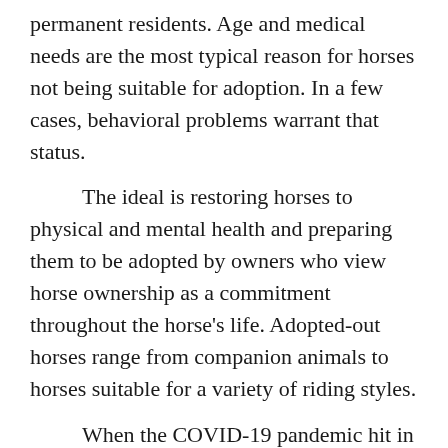permanent residents. Age and medical needs are the most typical reason for horses not being suitable for adoption. In a few cases, behavioral problems warrant that status.
The ideal is restoring horses to physical and mental health and preparing them to be adopted by owners who view horse ownership as a commitment throughout the horse's life. Adopted-out horses range from companion animals to horses suitable for a variety of riding styles.
When the COVID-19 pandemic hit in early spring, Redwings girded itself for an influx of horses in need. During economic downturns, this common scenario occurs through surrender by owners no longer able to care for their horses and by the rescue of those subjected to neglect and abandonment, a reality for many horses in any economy.
Redwings was ready for what turned out to be a